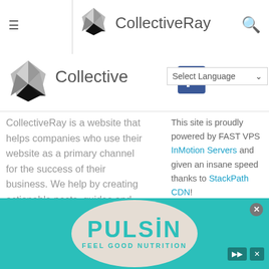CollectiveRay navigation bar with hamburger menu and search icon
[Figure (logo): CollectiveRay geometric gem logo in grayscale in top nav]
CollectiveRay
[Figure (logo): Second CollectiveRay header with gem logo, Facebook icon, and Select Language dropdown]
CollectiveRay is a website that helps companies who use their website as a primary channel for the success of their business. We help by creating actionable posts, guides and
This site is proudly powered by FAST VPS InMotion Servers and given an insane speed thanks to StackPath CDN!
[Figure (logo): InMotion Hosting logo]
[Figure (logo): StackPath logo]
[Figure (advertisement): Pulsin Feel Good Nutrition teal advertisement banner]